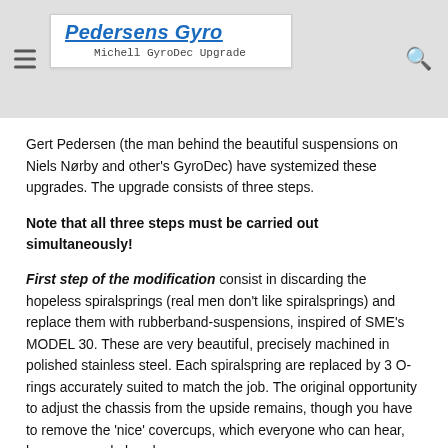Pedersens Gyro — Michell GyroDec Upgrade
Gert Pedersen (the man behind the beautiful suspensions on Niels Nørby and other's GyroDec) have systemized these upgrades. The upgrade consists of three steps.
Note that all three steps must be carried out simultaneously!
First step of the modification consist in discarding the hopeless spiralsprings (real men don't like spiralsprings) and replace them with rubberband-suspensions, inspired of SME's MODEL 30. These are very beautiful, precisely machined in polished stainless steel. Each spiralspring are replaced by 3 O-rings accurately suited to match the job. The original opportunity to adjust the chassis from the upside remains, though you have to remove the 'nice' covercups, which everyone who can hear, have removed already.